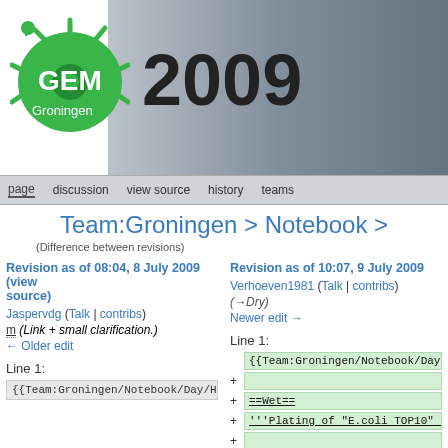[Figure (logo): iGEM Groningen 2009 logo with green microorganism graphic and bold '2009' text, with dark university background on the right]
page | discussion | view source | history | teams
Team:Groningen > Notebook >
(Difference between revisions)
Revision as of 08:04, 8 July 2009 (view source)
Jaspervdg (Talk | contribs)
m (Link + small clarification.)
← Older edit
Revision as of 10:07, 9 July 2009
Verhoeven1981 (Talk | contribs)
(→Dry)
Newer edit →
Line 1:
Line 1:
{{Team:Groningen/Notebook/Day/Header}}
{{Team:Groningen/Notebook/Day/Head...
+ (empty line)
+ ==Wet==
+ '''Plating of "E.coli TOP10" cells'''
+ (empty line)
+ The plates with transformed "E.coli TOP10" cells... transformed into the cells. To increase t...